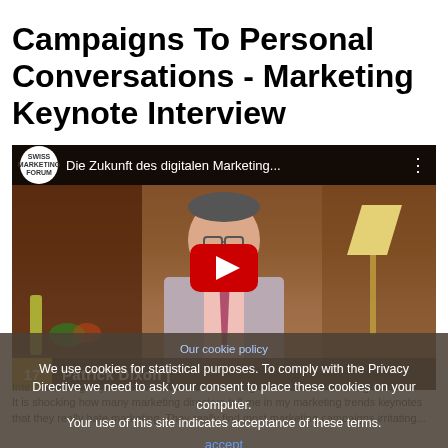Campaigns To Personal Conversations - Marketing Keynote Interview
[Figure (screenshot): YouTube video thumbnail showing a man (Patrick Dixon) in a pink shirt with glasses, seated at a table. The video title reads 'Die Zukunft des digitalen Marketing...' with Swiss Marketing Forum logo. A red YouTube play button overlay is centered. Number 17 in a gold/yellow badge and name 'Patrick Dixon' appear in a bar at the bottom of the video thumbnail.]
Our cookie policy
We use cookies for statistical purposes. To comply with the Privacy Directive we need to ask your consent to place these cookies on your computer.
Your use of this site indicates acceptance of these terms.
accept
Interview... following keynote on the future of marketing at the Swiss Marketing Forum.
It is shocking how many marketing directors tell me in my marketing trends keynotes that they really hate marketing. They really find most marketing campaigns irritating...